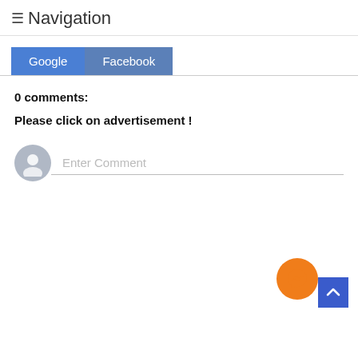≡Navigation
[Figure (screenshot): Two tab buttons: Google (blue) and Facebook (steel blue)]
0 comments:
Please click on advertisement !
[Figure (screenshot): Comment input field with user avatar icon and placeholder text 'Enter Comment']
[Figure (other): Orange Facebook Messenger floating button and blue scroll-to-top button in bottom-right corner]